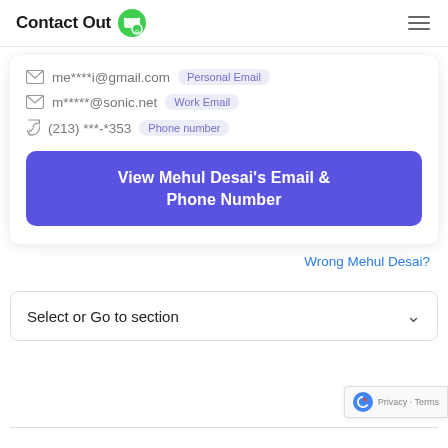Contact Out
me****i@gmail.com  Personal Email
m*****@sonic.net  Work Email
(213) ***-*353  Phone number
View Mehul Desai's Email & Phone Number
Wrong Mehul Desai?
Select or Go to section